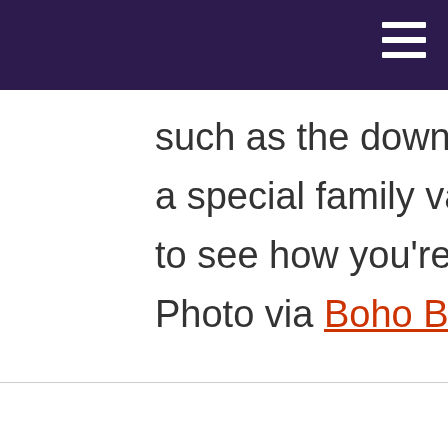such as the down payment on a new home or a special family vacation, this is a great way to see how you're doing as the year passes. Photo via Boho Berry.